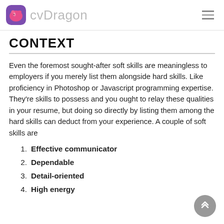cvDragon
CONTEXT
Even the foremost sought-after soft skills are meaningless to employers if you merely list them alongside hard skills. Like proficiency in Photoshop or Javascript programming expertise. They're skills to possess and you ought to relay these qualities in your resume, but doing so directly by listing them among the hard skills can deduct from your experience. A couple of soft skills are
Effective communicator
Dependable
Detail-oriented
High energy